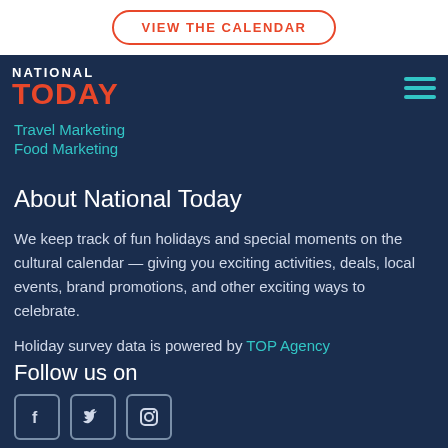VIEW THE CALENDAR
[Figure (logo): National Today logo with NATIONAL in white and TODAY in red/orange]
Travel Marketing
Food Marketing
About National Today
We keep track of fun holidays and special moments on the cultural calendar — giving you exciting activities, deals, local events, brand promotions, and other exciting ways to celebrate.
Holiday survey data is powered by TOP Agency
Follow us on
[Figure (illustration): Social media icons: Facebook, Twitter, Instagram]